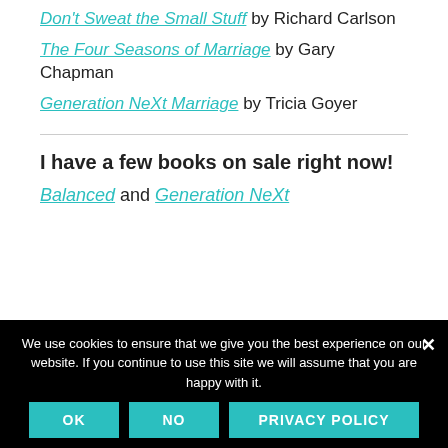Don't Sweat the Small Stuff by Richard Carlson
The Four Seasons of Marriage by Gary Chapman
Generation NeXt Marriage by Tricia Goyer
I have a few books on sale right now!
Balanced and Generation NeXt
We use cookies to ensure that we give you the best experience on our website. If you continue to use this site we will assume that you are happy with it.